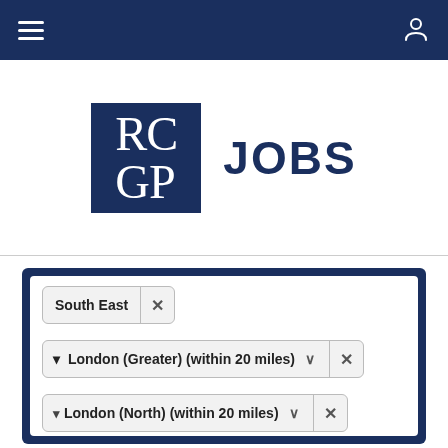[Figure (screenshot): RCGP Jobs website navigation bar with hamburger menu and user icon on dark navy background]
[Figure (logo): RCGP Jobs logo: blue square with RC/GP text in serif font, followed by bold JOBS text in navy]
South East ×
📍 London (Greater) (within 20 miles) ∨ ×
📍 London (North) (within 20 miles) ∨ ×
Direct Employer ×
📍 Haringey (within 20 miles) ∨ ×
Salaried GP ×